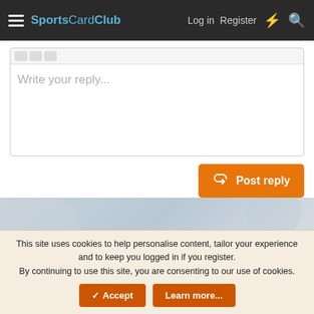SportsCardClub  Log in  Register
Write your reply...
Post reply
Similar threads
WTT - J. Rodriguez, Ohtani, A. Riley, Soto, Devers Cards For Trade
Molitor04x · Baseball Card Trading
This site uses cookies to help personalise content, tailor your experience and to keep you logged in if you register.
By continuing to use this site, you are consenting to our use of cookies.
Accept  Learn more...